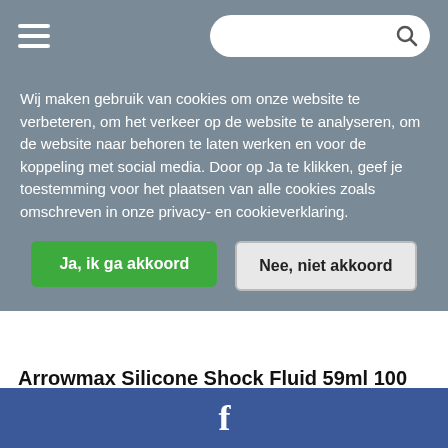Navigation bar with hamburger menu and search bar
Wij maken gebruik van cookies om onze website te verbeteren, om het verkeer op de website te analyseren, om de website naar behoren te laten werken en voor de koppeling met social media. Door op Ja te klikken, geef je toestemming voor het plaatsen van alle cookies zoals omschreven in onze privacy- en cookieverklaring.
Ja, ik ga akkoord
Nee, niet akkoord
Arrowmax Silicone Shock Fluid 59ml 100 t/m 900cst
€ 4,90
Niet op voorraad
f